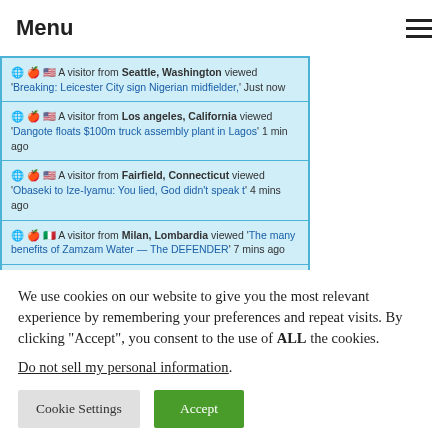Menu
[Figure (screenshot): Visitor tracking widget showing recent visitors from various locations viewing articles on a news website. Rows include visitors from Seattle Washington, Los Angeles California, Fairfield Connecticut, Milan Lombardia, and Nigeria.]
We use cookies on our website to give you the most relevant experience by remembering your preferences and repeat visits. By clicking “Accept”, you consent to the use of ALL the cookies.
Do not sell my personal information.
Cookie Settings   Accept